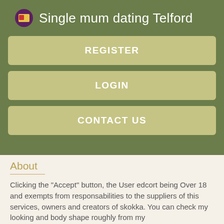Single mum dating Telford
REGISTER
LOGIN
CONTACT US
About
Clicking the "Accept" button, the User edcort being Over 18 and exempts from responsabilities to the suppliers of this services, owners and creators of skokka. You can check my looking and body shape roughly from my
Angie